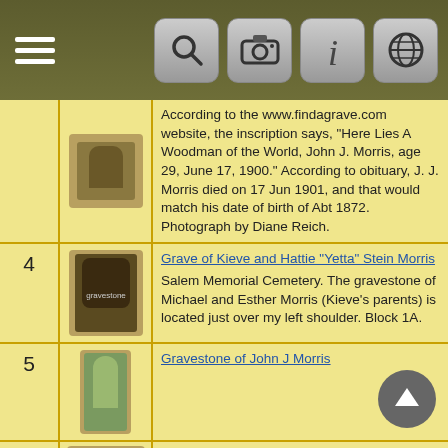Navigation bar with hamburger menu and icons
According to the www.findagrave.com website, the inscription says, "Here Lies A Woodman of the World, John J. Morris, age 29, June 17, 1900." According to obituary, J. J. Morris died on 17 Jun 1901, and that would match his date of birth of Abt 1872. Photograph by Diane Reich.
4 - Grave of Kieve and Hattie "Yetta" Stein Morris - Salem Memorial Cemetery. The gravestone of Michael and Esther Morris (Kieve's parents) is located just over my left shoulder. Block 1A.
5 - Gravestone of John J Morris
6 - Gravestone of Joseph and Flora Morris and their son Irving
7 - Gravestone of Kevy and Yetta Morris - Salem Memorial Park, Colma, California
8 - Gravestone of Michael and Esther Morris - Salem Memorial Park and Garden, Colma, California - Block 1A
9 - Gravestone of Michael Morris and Esther Morris - Photograph from the www.findagrave.com website.